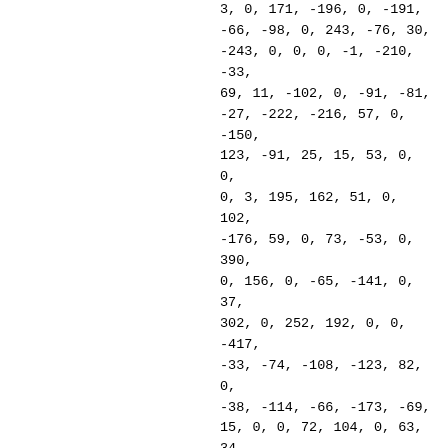3, 0, 171, -196, 0, -191, -66, -98, 0, 243, -76, 30, -243, 0, 0, 0, -1, -210, -33, 69, 11, -102, 0, -91, -81, -27, -222, -216, 57, 0, -150, 123, -91, 25, 15, 53, 0, 0, 0, 3, 195, 162, 51, 0, 102, -176, 59, 0, 73, -53, 0, 390, 0, 156, 0, -65, -141, 0, 37, 302, 0, 252, 192, 0, 0, -417, -33, -74, -108, -123, 82, 0, -38, -114, -66, -173, -69, 15, 0, 0, 72, 104, 0, 63, 34, 0, -150, 38, -49, -78, 0, 219, 0, 259, -2, 0, 210, 69, -98, 0, 55, 96, 102, 120, 0, 0, 0, -54, -117, -109, -126, -84, -3, 0, 72, -225, 69, -312, 141, -50, 0, -51, -252, -112, -46, 84, -5, 0, 0, 0,